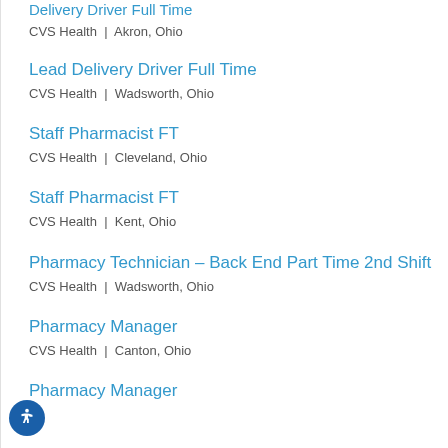Delivery Driver Full Time
CVS Health | Akron, Ohio
Lead Delivery Driver Full Time
CVS Health | Wadsworth, Ohio
Staff Pharmacist FT
CVS Health | Cleveland, Ohio
Staff Pharmacist FT
CVS Health | Kent, Ohio
Pharmacy Technician – Back End Part Time 2nd Shift
CVS Health | Wadsworth, Ohio
Pharmacy Manager
CVS Health | Canton, Ohio
Pharmacy Manager